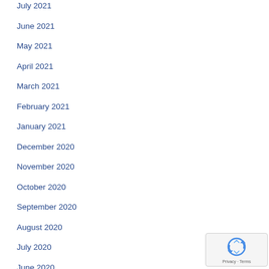July 2021
June 2021
May 2021
April 2021
March 2021
February 2021
January 2021
December 2020
November 2020
October 2020
September 2020
August 2020
July 2020
June 2020
[Figure (logo): Google reCAPTCHA badge with recycle-arrows logo and Privacy · Terms text]